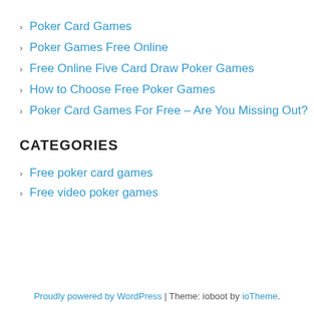Poker Card Games
Poker Games Free Online
Free Online Five Card Draw Poker Games
How to Choose Free Poker Games
Poker Card Games For Free – Are You Missing Out?
CATEGORIES
Free poker card games
Free video poker games
Proudly powered by WordPress | Theme: ioboot by ioTheme.